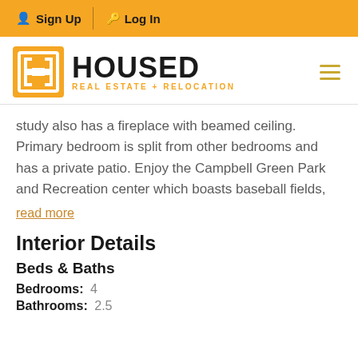Sign Up  Log In
[Figure (logo): Housed Real Estate + Relocation logo with yellow H icon and hamburger menu]
study also has a fireplace with beamed ceiling. Primary bedroom is split from other bedrooms and has a private patio. Enjoy the Campbell Green Park and Recreation center which boasts baseball fields,
read more
Interior Details
Beds & Baths
Bedrooms:  4
Bathrooms:  2.5